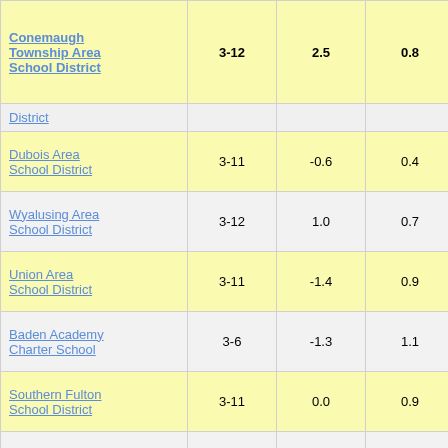| School District | Grades | Col3 | Col4 | Score |
| --- | --- | --- | --- | --- |
| Conemaugh Township Area School District | 3-12 | 2.5 | 0.8 | 3.18 |
| District (partial) |  |  |  |  |
| Dubois Area School District | 3-11 | -0.6 | 0.4 | -1.40 |
| Wyalusing Area School District | 3-12 | 1.0 | 0.7 | 1.58 |
| Union Area School District | 3-11 | -1.4 | 0.9 | -1.52 |
| Baden Academy Charter School | 3-6 | -1.3 | 1.1 | -1.21 |
| Southern Fulton School District | 3-11 | 0.0 | 0.9 | 0.03 |
| Lehigh Valley Academy Regional Charter School | 3-11 | 0.4 | 0.6 | 0.69 |